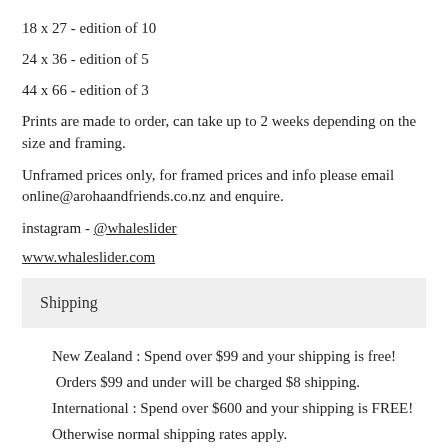18 x 27 - edition of 10
24 x 36 - edition of 5
44 x 66 - edition of 3
Prints are made to order, can take up to 2 weeks depending on the size and framing.
Unframed prices only, for framed prices and info please email online@arohaandfriends.co.nz and enquire.
instagram - @whaleslider
www.whaleslider.com
Shipping
New Zealand : Spend over $99 and your shipping is free! Orders $99 and under will be charged $8 shipping. International : Spend over $600 and your shipping is FREE! Otherwise normal shipping rates apply.